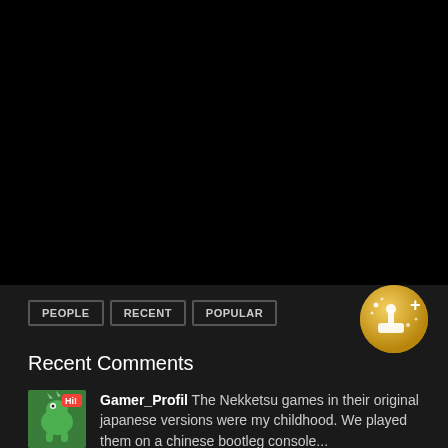[Figure (other): Black video player area]
PEOPLE
RECENT
POPULAR
[Figure (logo): Gold circular gaming badge icon with joystick and plus sign]
Recent Comments
Gamer_Profil The Nekketsu games in their original japanese versions were my childhood. We played them on a chinese bootleg console...